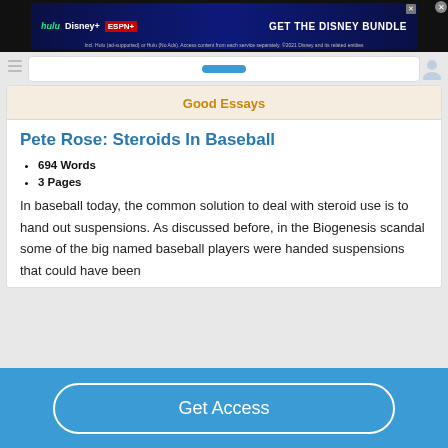[Figure (screenshot): Disney Bundle advertisement banner showing Hulu, Disney+, and ESPN+ logos with 'GET THE DISNEY BUNDLE' call to action]
Good Essays
Pete Rose: Steroids In Baseball
694 Words
3 Pages
In baseball today, the common solution to deal with steroid use is to hand out suspensions. As discussed before, in the Biogenesis scandal some of the big named baseball players were handed suspensions that could have been
Get Access